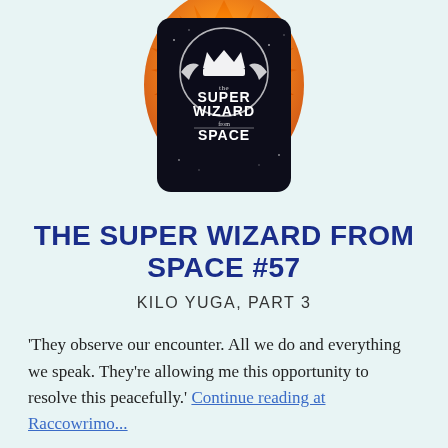[Figure (logo): The Super Wizard from Space book cover logo — dark circular badge with crown and wings on a starry background with orange fire/explosion effect]
THE SUPER WIZARD FROM SPACE #57
KILO YUGA, PART 3
'They observe our encounter. All we do and everything we speak. They're allowing me this opportunity to resolve this peacefully.' Continue reading at Raccowrimo...
SOME RAMBLING THOUGHTS